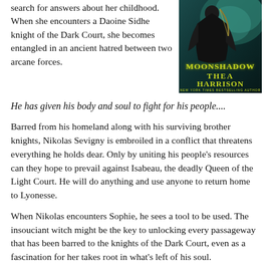search for answers about her childhood. When she encounters a Daoine Sidhe knight of the Dark Court, she becomes entangled in an ancient hatred between two arcane forces.
[Figure (illustration): Book cover of 'Moonshadow' by Thea Harrison, New York Times Bestselling Author. Shows a dark-cloaked figure with yellow-green title text on a teal/dark background.]
He has given his body and soul to fight for his people....
Barred from his homeland along with his surviving brother knights, Nikolas Sevigny is embroiled in a conflict that threatens everything he holds dear. Only by uniting his people's resources can they hope to prevail against Isabeau, the deadly Queen of the Light Court. He will do anything and use anyone to return home to Lyonesse.
When Nikolas encounters Sophie, he sees a tool to be used. The insouciant witch might be the key to unlocking every passageway that has been barred to the knights of the Dark Court, even as a fascination for her takes root in what's left of his soul.